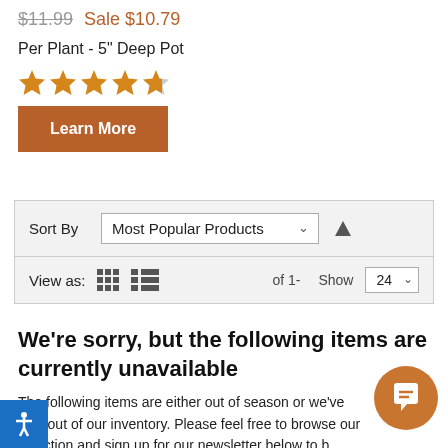$11.99 Sale $10.79
Per Plant - 5" Deep Pot
[Figure (other): 4.5 out of 5 stars rating (5 star icons, last one partially filled)]
Learn More
Sort By  Most Popular Products  (arrow up)
View as: (grid icon) (list icon)  of 1-  Show  24
We're sorry, but the following items are currently unavailable
The following items are either out of season or we've sold out of our inventory. Please feel free to browse our selection and sign up for our newsletter below to b… ied when these products are available for next season! often have similar items available, so please utilize our